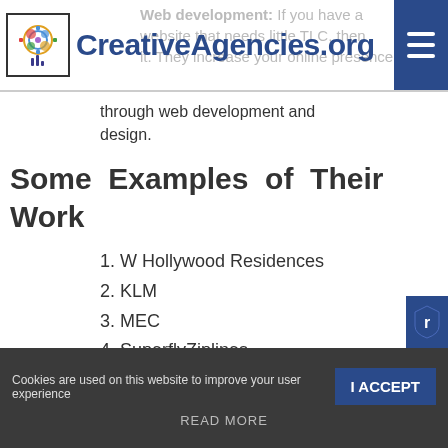CreativeAgencies.org
Web development: If you have a website that needs little TLC, then it. They increase your online presence through web development and design.
Some Examples of Their Work
1. W Hollywood Residences
2. KLM
3. MEC
4. SuperflyZiplines
5. Pirelli
It is important to know more information about the agency and you are lucky
Cookies are used on this website to improve your user experience  I ACCEPT  READ MORE